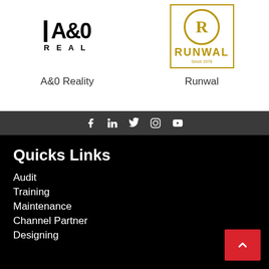[Figure (logo): A&0 Reality logo — black text with vertical bar, 'REAL' text below]
A&0 Reality
[Figure (logo): Runwal logo — gold circular emblem with 'RUNWAL' text below, gold border]
Runwal
[Figure (infographic): Social media icon bar with Facebook, LinkedIn, Twitter, Instagram, YouTube icons on dark gray background]
Quicks Links
Audit
Training
Maintenance
Channel Partner
Designing